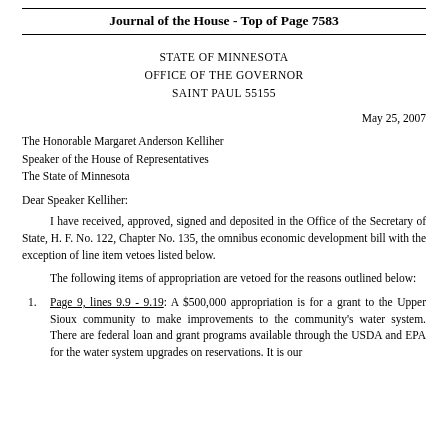Journal of the House - Top of Page 7583
STATE OF MINNESOTA
OFFICE OF THE GOVERNOR
SAINT PAUL 55155
May 25, 2007
The Honorable Margaret Anderson Kelliher
Speaker of the House of Representatives
The State of Minnesota
Dear Speaker Kelliher:
I have received, approved, signed and deposited in the Office of the Secretary of State, H. F. No. 122, Chapter No. 135, the omnibus economic development bill with the exception of line item vetoes listed below.
The following items of appropriation are vetoed for the reasons outlined below:
Page 9, lines 9.9 - 9.19: A $500,000 appropriation is for a grant to the Upper Sioux community to make improvements to the community's water system. There are federal loan and grant programs available through the USDA and EPA for the water system upgrades on reservations. It is our